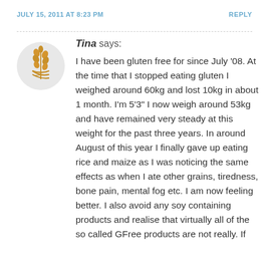JULY 15, 2011 AT 8:23 PM
REPLY
[Figure (logo): Circular avatar logo with golden wheat stalk and ribbon/DNA helix design on light grey background]
Tina says: I have been gluten free for since July '08. At the time that I stopped eating gluten I weighed around 60kg and lost 10kg in about 1 month. I'm 5'3" I now weigh around 53kg and have remained very steady at this weight for the past three years. In around August of this year I finally gave up eating rice and maize as I was noticing the same effects as when I ate other grains, tiredness, bone pain, mental fog etc. I am now feeling better. I also avoid any soy containing products and realise that virtually all of the so called GFree products are not really. If